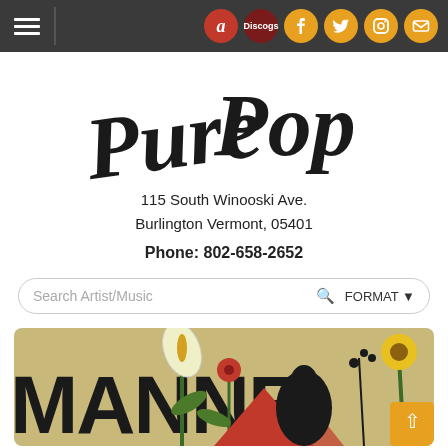Pure Pop navigation bar with hamburger menu and social icons (Amazon, Discogs, Facebook, Twitter, Instagram, Email)
Pure Pop
115 South Winooski Ave.
Burlington Vermont, 05401
Phone: 802-658-2652
Search Artist/Music  FORMAT
[Figure (illustration): Album artwork showing flowers (calla lily, small red flower, sunflower), a mountain or abstract red shape, dark figure/crow, and bold black text 'MANNE' visible at left edge on a tan/beige background.]